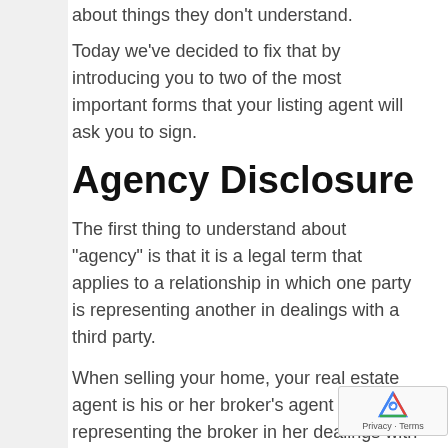about things they don't understand.
Today we've decided to fix that by introducing you to two of the most important forms that your listing agent will ask you to sign.
Agency Disclosure
The first thing to understand about “agency” is that it is a legal term that applies to a relationship in which one party is representing another in dealings with a third party.
When selling your home, your real estate agent is his or her broker’s agent – representing the broker in her dealings with you.
Your real estate agent will then represent ye